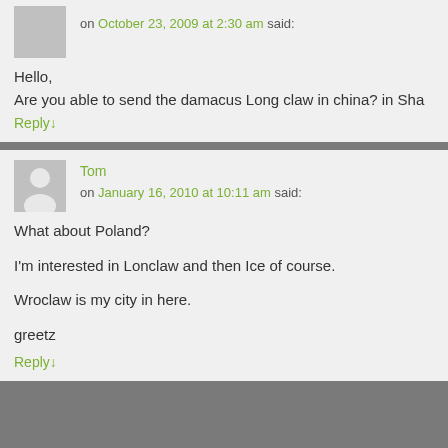on October 23, 2009 at 2:30 am said:
Hello,
Are you able to send the damacus Long claw in china? in Sha
Reply↓
Tom
on January 16, 2010 at 10:11 am said:
What about Poland?

I'm interested in Lonclaw and then Ice of course.

Wroclaw is my city in here.

greetz
Reply↓